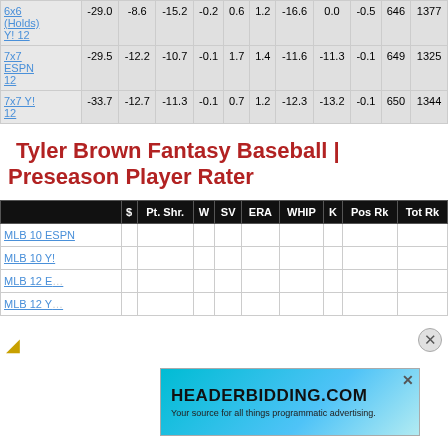|  | $ | Pt. Shr. | W | SV | ERA | WHIP | K | Pos Rk | Tot Rk |
| --- | --- | --- | --- | --- | --- | --- | --- | --- | --- |
| 6x6 (Holds) Y! 12 | -29.0 | -8.6 | -15.2 | -0.2 | 0.6 | 1.2 | -16.6 | 0.0 | -0.5 | 646 | 1377 |
| 7x7 ESPN 12 | -29.5 | -12.2 | -10.7 | -0.1 | 1.7 | 1.4 | -11.6 | -11.3 | -0.1 | 649 | 1325 |
| 7x7 Y! 12 | -33.7 | -12.7 | -11.3 | -0.1 | 0.7 | 1.2 | -12.3 | -13.2 | -0.1 | 650 | 1344 |
Tyler Brown Fantasy Baseball | Preseason Player Rater
|  | $ | Pt. Shr. | W | SV | ERA | WHIP | K | Pos Rk | Tot Rk |
| --- | --- | --- | --- | --- | --- | --- | --- | --- | --- |
| MLB 10 ESPN |  |  |  |  |  |  |  |  |  |
| MLB 10 Y! |  |  |  |  |  |  |  |  |  |
| MLB 12 E... |  |  |  |  |  |  |  |  |  |
| MLB 12 Y... |  |  |  |  |  |  |  |  |  |